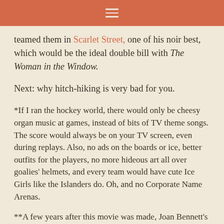≡
teamed them in Scarlet Street, one of his noir best, which would be the ideal double bill with The Woman in the Window.
Next: why hitch-hiking is very bad for you.
*If I ran the hockey world, there would only be cheesy organ music at games, instead of bits of TV theme songs. The score would always be on your TV screen, even during replays. Also, no ads on the boards or ice, better outfits for the players, no more hideous art all over goalies' helmets, and every team would have cute Ice Girls like the Islanders do. Oh, and no Corporate Name Arenas.
**A few years after this movie was made, Joan Bennett's husband shot and wounded her agent,